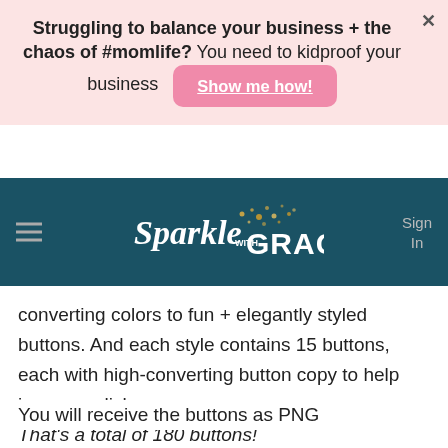Struggling to balance your business + the chaos of #momlife? You need to kidproof your business  Show me how!
[Figure (screenshot): Sparkle with Grace website logo on teal navigation bar with hamburger menu and Sign In link]
converting colors to fun + elegantly styled buttons. And each style contains 15 buttons, each with high-converting button copy to help increase clicks. That's a total of 180 buttons!
You will receive the buttons as PNG